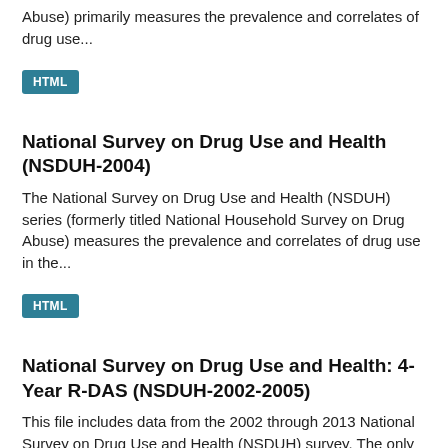Abuse) primarily measures the prevalence and correlates of drug use...
HTML
National Survey on Drug Use and Health (NSDUH-2004)
The National Survey on Drug Use and Health (NSDUH) series (formerly titled National Household Survey on Drug Abuse) measures the prevalence and correlates of drug use in the...
HTML
National Survey on Drug Use and Health: 4-Year R-DAS (NSDUH-2002-2005)
This file includes data from the 2002 through 2013 National Survey on Drug Use and Health (NSDUH) survey. The only variables included in the data file are ones that were...
HTML